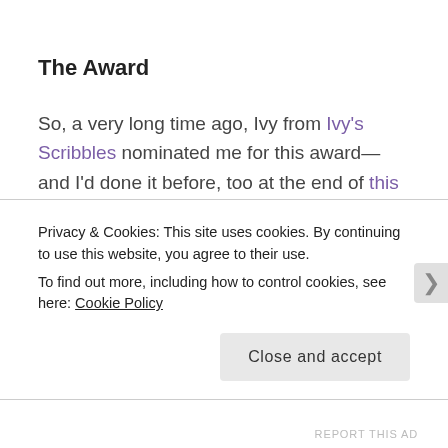The Award
So, a very long time ago, Ivy from Ivy's Scribbles nominated me for this award—and I'd done it before, too at the end of this post. The award is now doing its rounds all over again, so I decided to join in on the fun, mostly since I was nominated again, thrice! I got nominated for this award by Maith, Gauri and Vanya—all three of whom are amongst my favourite bloggers!
Privacy & Cookies: This site uses cookies. By continuing to use this website, you agree to their use.
To find out more, including how to control cookies, see here: Cookie Policy